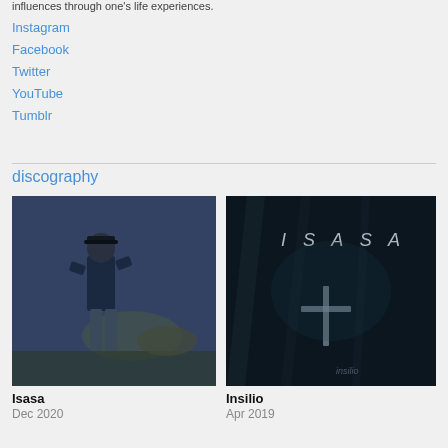influences through one's life experiences.
Instagram
Facebook
Twitter
YouTube
Tumblr
discography
[Figure (photo): Album cover for Isasa - black and white/blue tinted photo of a man standing outdoors]
Isasa
Dec 2020
[Figure (photo): Album cover for Insilio - dark moody image with 'ISASA' text written at top and a cross symbol, with handwritten text at bottom]
Insilio
Apr 2019